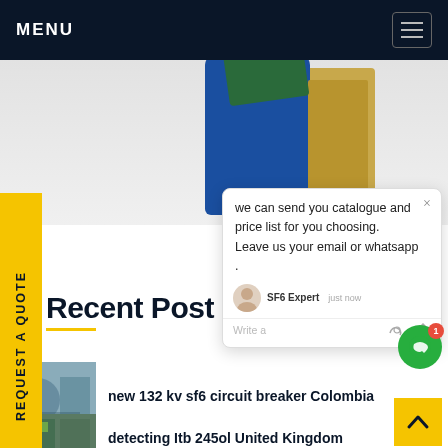MENU
[Figure (photo): Close-up of a blue and gold SF6 circuit breaker component against a light background]
REQUEST A QUOTE
[Figure (screenshot): Chat popup showing message: 'we can send you catalogue and price list for you choosing. Leave us your email or whatsapp .' From SF6 Expert, just now. With Write a message box and like/attachment icons.]
Recent Post
[Figure (photo): Thumbnail of industrial electrical equipment with worker in blue uniform]
new 132 kv sf6 circuit breaker Colombia
[Figure (photo): Thumbnail of industrial facility with green signage]
detecting Itb 245ol United Kingdom